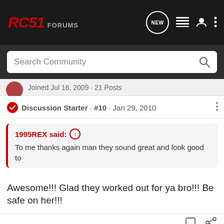RC51 Forums - Navigation bar with Search Community
Joined Jul 16, 2009 · 21 Posts
Discussion Starter · #10 · Jan 29, 2010
1995REX said: ↑
To me thanks again man they sound great and look good to
Awesome!!! Glad they worked out for ya bro!!! Be safe on her!!!
1 - 10 of   [Suzuki GSX-S1000GT advertisement]